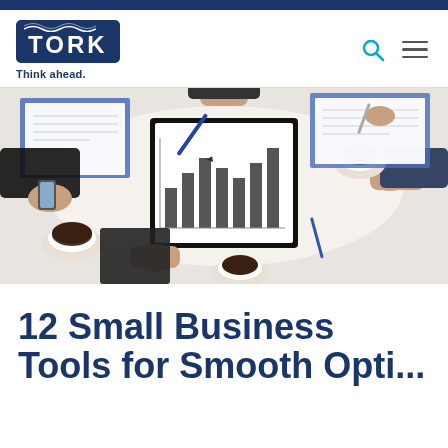TORK — Think ahead.
[Figure (photo): Overhead view of a business meeting: multiple people's hands around a white table with clipboards, charts, pens, and coffee cups]
12 Small Business Tools for Smooth Opti...